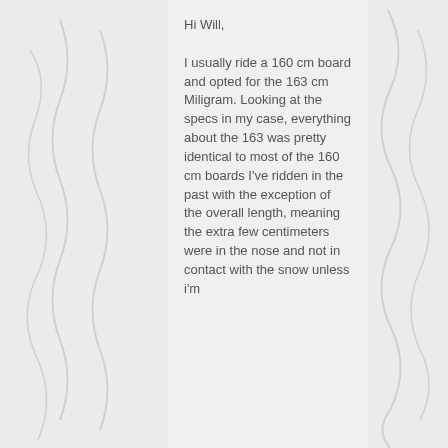Hi Will,

I usually ride a 160 cm board and opted for the 163 cm Miligram. Looking at the specs in my case, everything about the 163 was pretty identical to most of the 160 cm boards I've ridden in the past with the exception of the overall length, meaning the extra few centimeters were in the nose and not in contact with the snow unless i'm